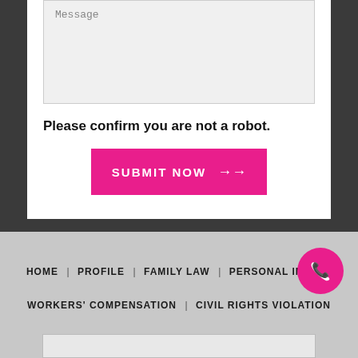Message
Please confirm you are not a robot.
SUBMIT NOW →
HOME | PROFILE | FAMILY LAW | PERSONAL INJURY | WORKERS' COMPENSATION | CIVIL RIGHTS VIOLATION | TESTIMONIALS | BLOG | CONTACT